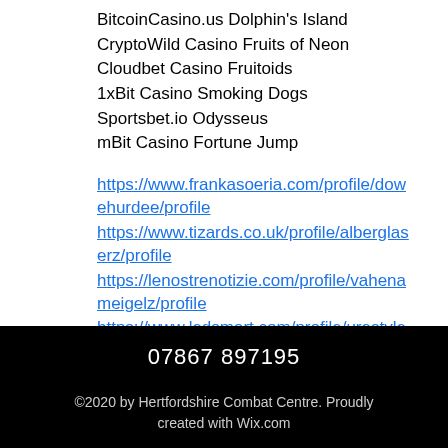BitcoinCasino.us Dolphin's Island
CryptoWild Casino Fruits of Neon
Cloudbet Casino Fruitoids
1xBit Casino Smoking Dogs
Sportsbet.io Odysseus
mBit Casino Fortune Jump
https://www.frankasoeria.com/profile/dowehurdee/profile
https://www.tizards.co.uk/profile/alberglaserz/profile
https://lenostrenotizie.com/profile/vahenameigelz/profile
https://www.ledsmart.com/profile/urestimeierst/profile
07867 897195
©2020 by Hertfordshire Combat Centre. Proudly created with Wix.com